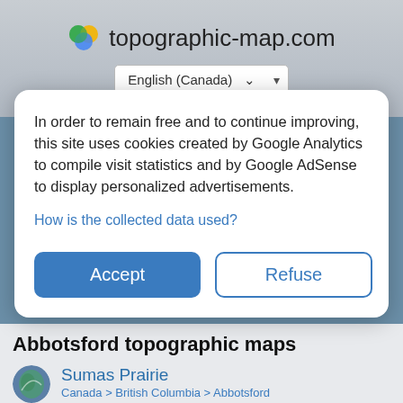[Figure (screenshot): topographic-map.com website header with colorful logo dots and site title]
topographic-map.com
English (Canada)
In order to remain free and to continue improving, this site uses cookies created by Google Analytics to compile visit statistics and by Google AdSense to display personalized advertisements.
How is the collected data used?
Accept
Refuse
Abbotsford topographic maps
Sumas Prairie
Canada > British Columbia > Abbotsford
Sumas Prairie, Abbotsford, British Columbia, Canada (49.06560